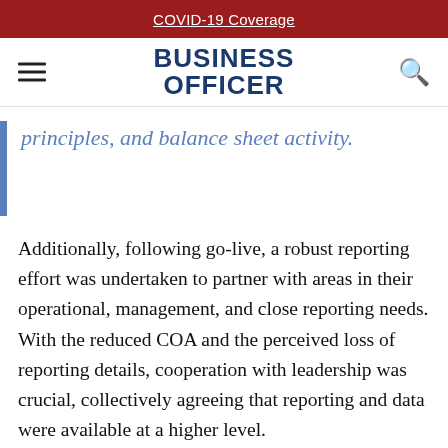COVID-19 Coverage
BUSINESS OFFICER
principles, and balance sheet activity.
Additionally, following go-live, a robust reporting effort was undertaken to partner with areas in their operational, management, and close reporting needs. With the reduced COA and the perceived loss of reporting details, cooperation with leadership was crucial, collectively agreeing that reporting and data were available at a higher level.